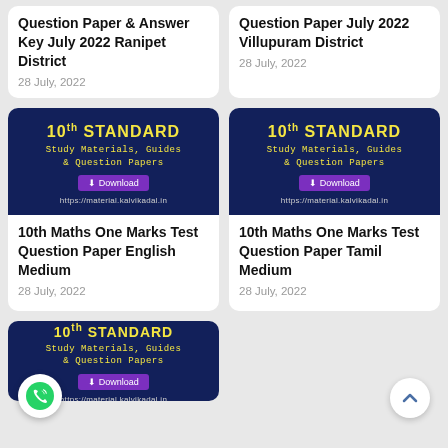Question Paper & Answer Key July 2022 Ranipet District
28 July, 2022
Question Paper July 2022 Villupuram District
28 July, 2022
[Figure (infographic): 10th Standard Study Materials, Guides & Question Papers banner with download button and URL https://material.kalvikadal.in]
10th Maths One Marks Test Question Paper English Medium
28 July, 2022
[Figure (infographic): 10th Standard Study Materials, Guides & Question Papers banner with download button and URL https://material.kalvikadal.in]
10th Maths One Marks Test Question Paper Tamil Medium
28 July, 2022
[Figure (infographic): 10th Standard Study Materials, Guides & Question Papers banner with download button and URL https://material.kalvikadal.in (partially visible)]